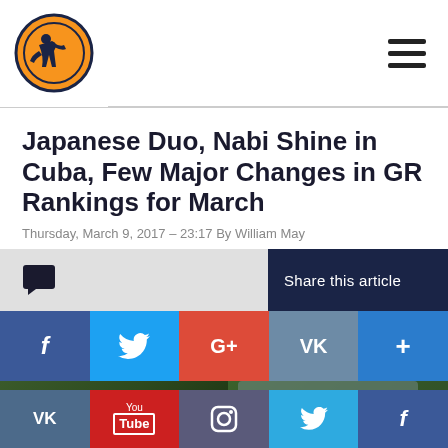United World Wrestling logo and navigation
Japanese Duo, Nabi Shine in Cuba, Few Major Changes in GR Rankings for March
Thursday, March 9, 2017 – 23:17 By William May
[Figure (screenshot): Social share bar with comment icon, Share this article label, and social media buttons: Facebook, Twitter, Google+, VK, and more]
[Figure (photo): Wrestler photo showing a Japanese athlete in blue uniform with Japan flag patch competing at what appears to be a major international wrestling event]
Bottom social media navigation bar: VK, YouTube, Instagram, Twitter, Facebook